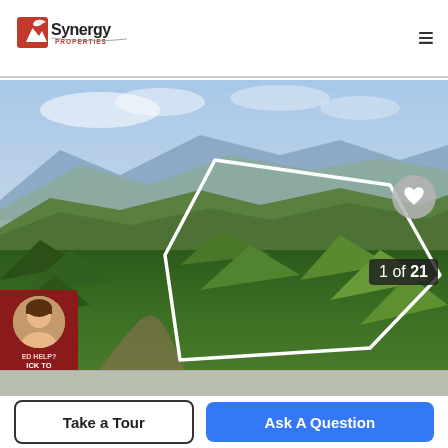Synergy Properties
[Figure (photo): Aerial drone photo of forested mountain land parcel with white property boundary outline overlaid on dense evergreen forest and mountain range in background. Chat widget with agent photo in lower left. Image counter '1 of 21' in lower right.]
1 of 21
Take a Tour
Ask A Question